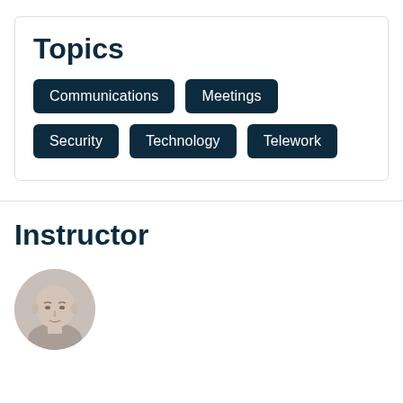Topics
Communications
Meetings
Security
Technology
Telework
Instructor
[Figure (photo): Circular headshot photo of a bald man, male instructor]